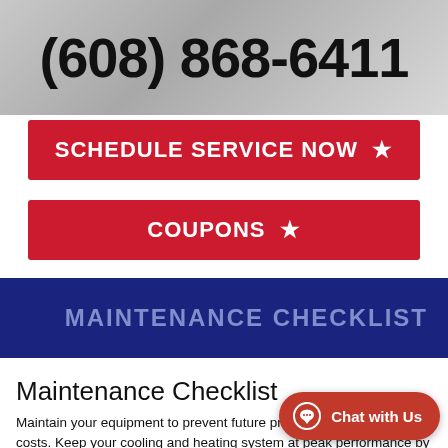(608) 868-6411
SCHEDULE SERVICE NOW ★
COUPONS ★
MAINTENANCE CHECKLIST
Maintenance Checklist
Maintain your equipment to prevent future problems and unwanted costs. Keep your cooling and heating system at peak performance by having a contractor do pre-season check-ups. Contractors get busy when summer and winter come, so it's best to check the cooling system in the
Chat with Us